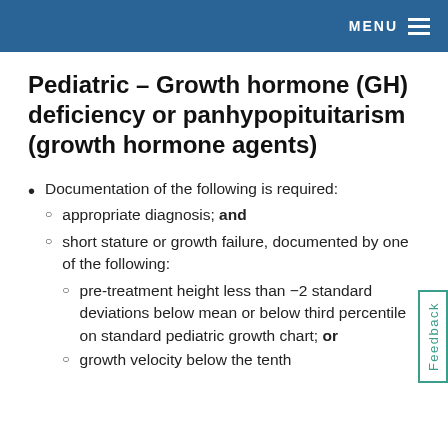MENU
Pediatric - Growth hormone (GH) deficiency or panhypopituitarism (growth hormone agents)
Documentation of the following is required:
appropriate diagnosis; and
short stature or growth failure, documented by one of the following:
pre-treatment height less than −2 standard deviations below mean or below third percentile on standard pediatric growth chart; or
growth velocity below the tenth